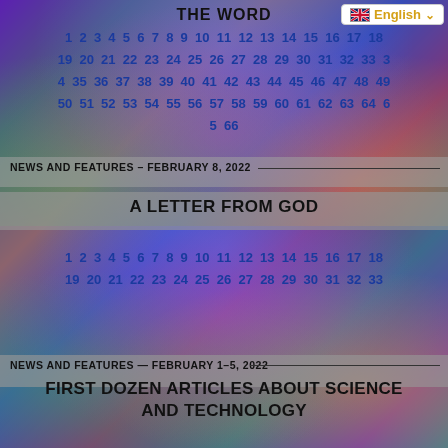THE WORD
English
1 2 3 4 5 6 7 8 9 10 11 12 13 14 15 16 17 18 19 20 21 22 23 24 25 26 27 28 29 30 31 32 33 3 4 35 36 37 38 39 40 41 42 43 44 45 46 47 48 49 50 51 52 53 54 55 56 57 58 59 60 61 62 63 64 6 5 66
NEWS AND FEATURES – FEBRUARY 8, 2022
A LETTER FROM GOD
1 2 3 4 5 6 7 8 9 10 11 12 13 14 15 16 17 18 19 20 21 22 23 24 25 26 27 28 29 30 31 32 33
NEWS AND FEATURES — FEBRUARY 1–5, 2022
FIRST DOZEN ARTICLES ABOUT SCIENCE AND TECHNOLOGY